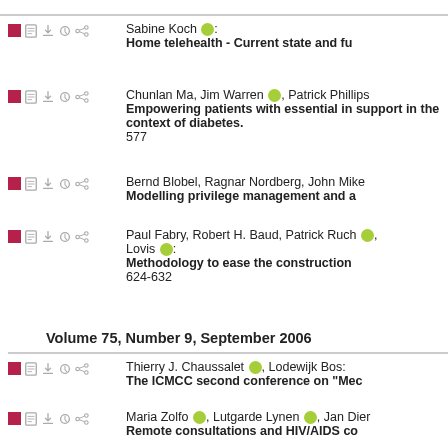Sabine Koch: Home telehealth - Current state and fu
Chunlan Ma, Jim Warren, Patrick Phillips: Empowering patients with essential in support in the context of diabetes. 577
Bernd Blobel, Ragnar Nordberg, John Mike: Modelling privilege management and a
Paul Fabry, Robert H. Baud, Patrick Ruch, Lovis: Methodology to ease the construction 624-632
Volume 75, Number 9, September 2006
Thierry J. Chaussalet, Lodewijk Bos: The ICMCC second conference on "Mec
Maria Zolfo, Lutgarde Lynen, Jan Dier: Remote consultations and HIV/AIDS co